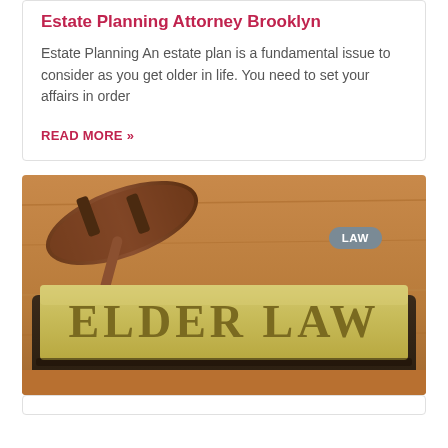Estate Planning Attorney Brooklyn
Estate Planning An estate plan is a fundamental issue to consider as you get older in life. You need to set your affairs in order
READ MORE »
[Figure (photo): Photo of a brass desk nameplate reading 'ELDER LAW' with a judge's gavel in the background on a wooden surface. A grey badge labeled 'LAW' appears in the upper right corner.]